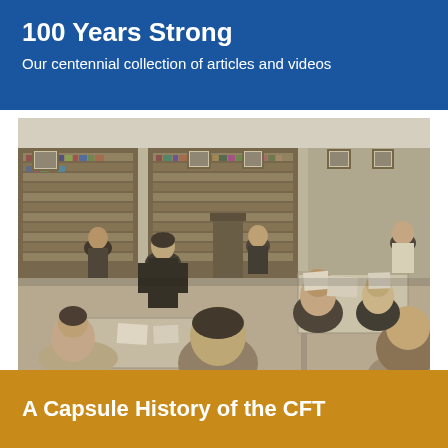100 Years Strong
Our centennial collection of articles and videos
[Figure (photo): Black and white photograph of a group of people gathered in a library setting. A man stands at the front addressing the group, with bookshelves visible in the background. People are seated and standing around tables, appearing to be in a meeting or discussion.]
A Capsule History of the CFT